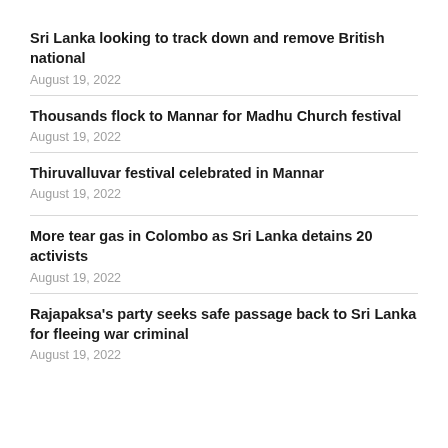Sri Lanka looking to track down and remove British national
August 19, 2022
Thousands flock to Mannar for Madhu Church festival
August 19, 2022
Thiruvalluvar festival celebrated in Mannar
August 19, 2022
More tear gas in Colombo as Sri Lanka detains 20 activists
August 19, 2022
Rajapaksa's party seeks safe passage back to Sri Lanka for fleeing war criminal
August 19, 2022